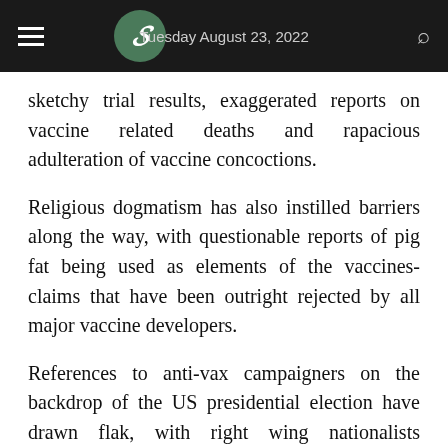Tuesday August 23, 2022
sketchy trial results, exaggerated reports on vaccine related deaths and rapacious adulteration of vaccine concoctions.
Religious dogmatism has also instilled barriers along the way, with questionable reports of pig fat being used as elements of the vaccines- claims that have been outright rejected by all major vaccine developers.
References to anti-vax campaigners on the backdrop of the US presidential election have drawn flak, with right wing nationalists declaiming that it is a disruption of personal f m.